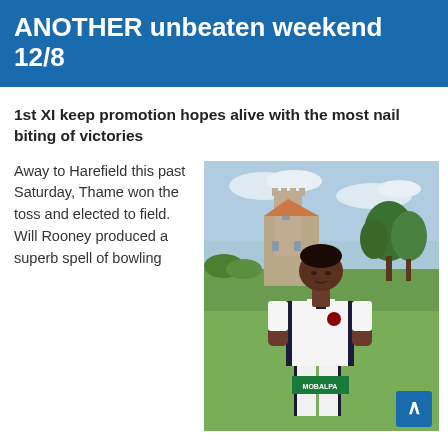ANOTHER unbeaten weekend 12/8
1st XI keep promotion hopes alive with the most nail biting of victories
Away to Harefield this past Saturday, Thame won the toss and elected to field. Will Rooney produced a superb spell of bowling
[Figure (photo): Cricket player in white Mobalpa-sponsored kit standing in front of a historic stone church tower and green cricket ground]